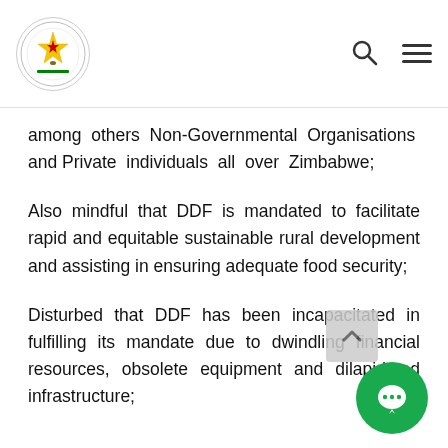Parliament of Zimbabwe
among others Non-Governmental Organisations and Private individuals all over Zimbabwe;
Also mindful that DDF is mandated to facilitate rapid and equitable sustainable rural development and assisting in ensuring adequate food security;
Disturbed that DDF has been incapacitated in fulfilling its mandate due to dwindling financial resources, obsolete equipment and dilapidated infrastructure;